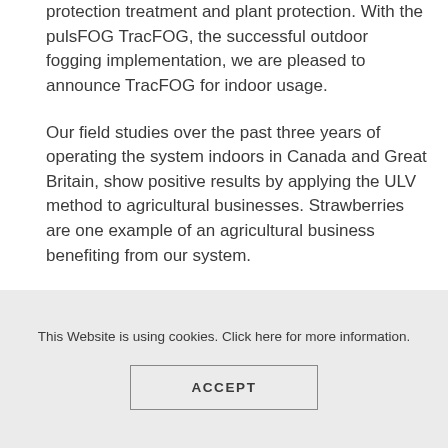protection treatment and plant protection. With the pulsFOG TracFOG, the successful outdoor fogging implementation, we are pleased to announce TracFOG for indoor usage.
Our field studies over the past three years of operating the system indoors in Canada and Great Britain, show positive results by applying the ULV method to agricultural businesses. Strawberries are one example of an agricultural business benefiting from our system.
This Website is using cookies. Click here for more information.
ACCEPT